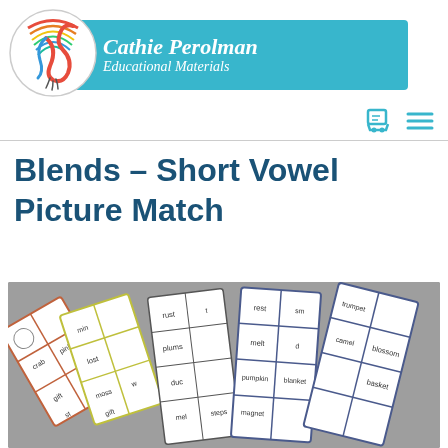[Figure (logo): Cathie Perolman Educational Materials logo with circular rainbow swirl icon and blue banner with brand name and tagline]
Blends – Short Vowel Picture Match
[Figure (photo): Fan of educational word-picture matching cards spread out on a grey surface, showing word cards with words like 'rust', 'rest', 'plums', 'melt', 'steps', 'magnet', 'pumpkin', 'blanket', 'basket', 'camel', 'blossom', 'trumpet', 'crab', 'pink', 'gift', 'moss', 'lost' arranged in grid patterns]